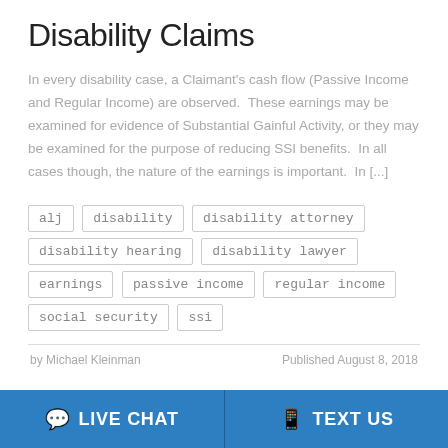Disability Claims
In every disability case, a Claimant's cash flow (Passive Income and Regular Income) are observed.  These earnings may be examined for evidence of Substantial Gainful Activity, or they may be examined for the purpose of reducing SSI benefits.  In all cases though, the nature of the earnings is important.  In [...]
alj
disability
disability attorney
disability hearing
disability lawyer
earnings
passive income
regular income
social security
ssi
by Michael Kleinman    Published August 8, 2018
LIVE CHAT   TEXT US